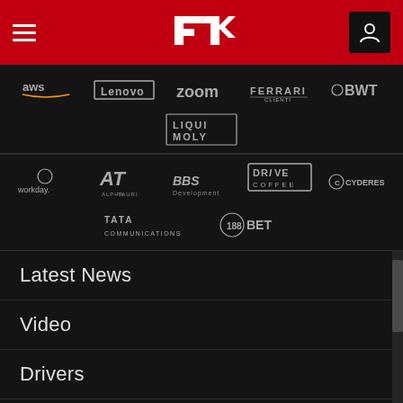F1 navigation header with hamburger menu, F1 logo, and user icon
[Figure (logo): Sponsor logos row 1: aws, Lenovo, zoom, FERRARI, BWT]
[Figure (logo): Sponsor logo row 2: LIQUI MOLY]
[Figure (logo): Sponsor logos row 3: workday, AlphaTauri, BBS Development, DRIVE COFFEE, CYDERES]
[Figure (logo): Sponsor logos row 4: TATA COMMUNICATIONS, 188BET]
Latest News
Video
Drivers
Teams